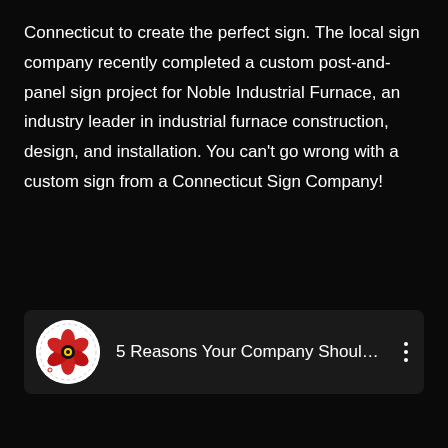Connecticut to create the perfect sign. The local sign company recently completed a custom post-and-panel sign project for Noble Industrial Furnace, an industry leader in industrial furnace construction, design, and installation. You can't go wrong with a custom sign from a Connecticut Sign Company!
[Figure (screenshot): A UI card/list item showing a circular thumbnail icon with a red poppy flower illustration on white background, followed by the text '5 Reasons Your Company Should ...' and a three-dot vertical menu icon on the right, on a dark background.]